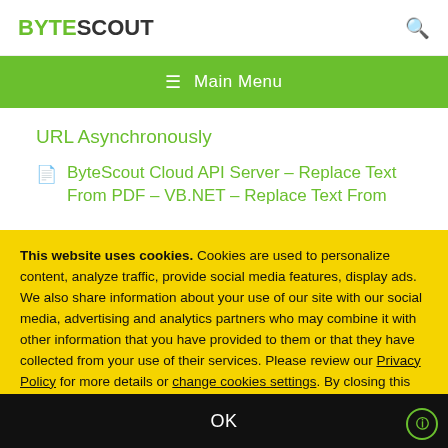BYTESCOUT
≡ Main Menu
URL Asynchronously
ByteScout Cloud API Server – Replace Text From PDF – VB.NET – Replace Text From
This website uses cookies. Cookies are used to personalize content, analyze traffic, provide social media features, display ads. We also share information about your use of our site with our social media, advertising and analytics partners who may combine it with other information that you have provided to them or that they have collected from your use of their services. Please review our Privacy Policy for more details or change cookies settings. By closing this banner or by clicking a link or continuing to browse otherwise, you consent to our cookies.
OK